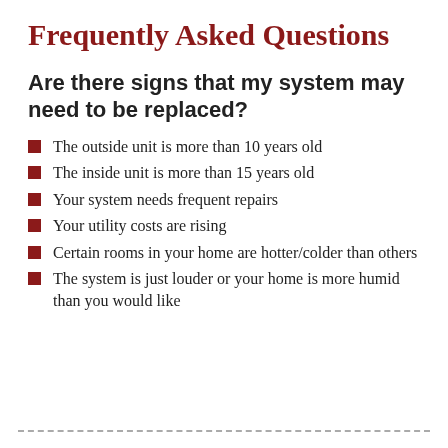Frequently Asked Questions
Are there signs that my system may need to be replaced?
The outside unit is more than 10 years old
The inside unit is more than 15 years old
Your system needs frequent repairs
Your utility costs are rising
Certain rooms in your home are hotter/colder than others
The system is just louder or your home is more humid than you would like